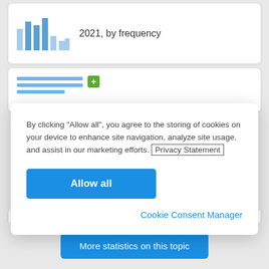[Figure (screenshot): Top background card showing a mini bar chart and text '2021, by frequency']
[Figure (screenshot): Middle background card showing horizontal lines (menu icon) with a green plus button]
By clicking "Allow all", you agree to the storing of cookies on your device to enhance site navigation, analyze site usage, and assist in our marketing efforts. Privacy Statement
Allow all
Cookie Consent Manager
[Figure (screenshot): Bottom background card with mini bar chart and text 'Breakdown of teleworking employees in France 2021, by company size']
More statistics on this topic